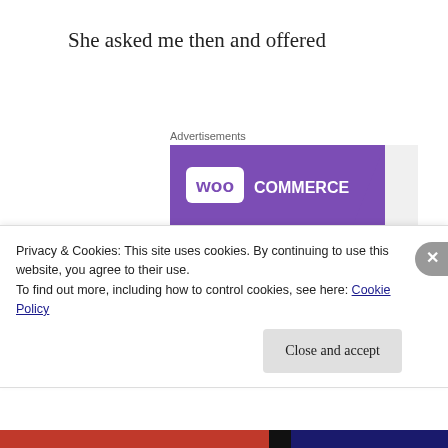She asked me then and offered
Advertisements
[Figure (screenshot): WooCommerce advertisement banner with purple logo area, green triangle decoration, blue arc, and text 'How to start selling subscriptions online']
Privacy & Cookies: This site uses cookies. By continuing to use this website, you agree to their use.
To find out more, including how to control cookies, see here: Cookie Policy
Close and accept